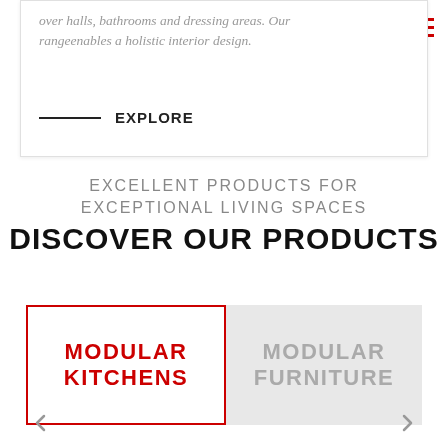over halls, bathrooms and dressing areas. Our rangeenables a holistic interior design.
— EXPLORE
EXCELLENT PRODUCTS FOR EXCEPTIONAL LIVING SPACES
DISCOVER OUR PRODUCTS
MODULAR KITCHENS
MODULAR FURNITURE